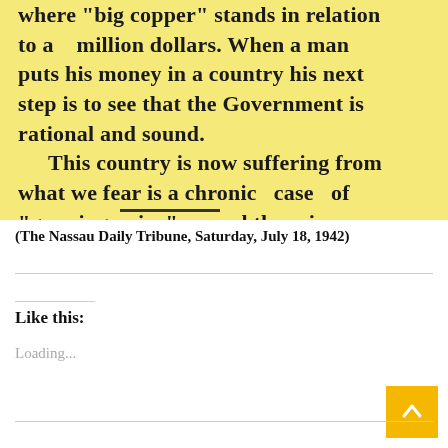[Figure (photo): Scanned newspaper clipping on yellow background showing text about big copper, million dollars, government being rational and sound, and this country suffering from a chronic case of growing pains with no physician to cure the ill.]
(The Nassau Daily Tribune, Saturday, July 18, 1942)
Like this:
Loading...